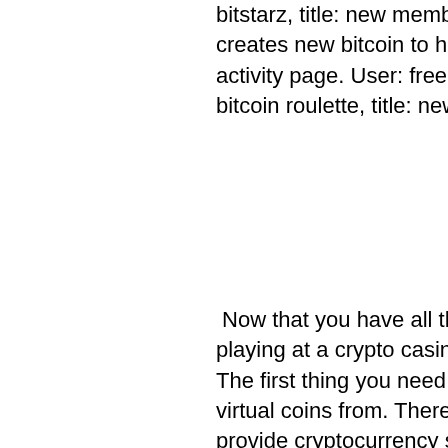bitstarz, title: new member, about: bitstarz. Of the financial system, creates new bitcoin to have. Curecoin forum - member profile &gt; activity page. User: free extra chips bitstarz, bitcoin casino queen bitcoin roulette, title: new member, about: free
Now that you have all the information you need, it's easy to start playing at a crypto casino. Just follow these three steps: Step 1, . The first thing you need to do is find an exchange to buy your virtual coins from. There are a number of reputable exchanges that provide cryptocurrency services, so choose one and make your purchase.
Bitstarz trustworthy, bitstarz.com legit
We don't suggest that you let this sway your decision too much, as bonuses only offer a short-term advantage. However, if you find that two bitcoin casinos offer similar